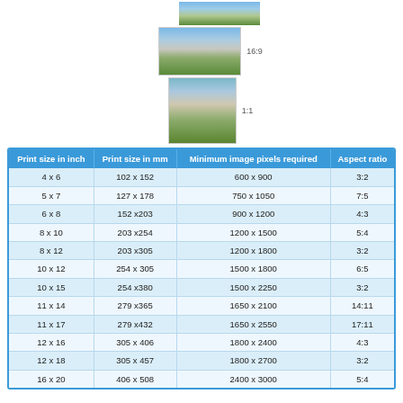[Figure (photo): Top cropped landscape photo (wider, 16:9-ish ratio)]
[Figure (photo): Middle landscape photo labeled 16:9]
[Figure (photo): Lower landscape/square photo labeled 1:1]
| Print size in inch | Print size in mm | Minimum image pixels required | Aspect ratio |
| --- | --- | --- | --- |
| 4 x 6 | 102 x 152 | 600 x 900 | 3:2 |
| 5 x 7 | 127 x 178 | 750 x 1050 | 7:5 |
| 6 x 8 | 152 x203 | 900 x 1200 | 4:3 |
| 8 x 10 | 203 x254 | 1200 x 1500 | 5:4 |
| 8 x 12 | 203 x305 | 1200 x 1800 | 3:2 |
| 10 x 12 | 254 x 305 | 1500 x 1800 | 6:5 |
| 10 x 15 | 254 x380 | 1500 x 2250 | 3:2 |
| 11 x 14 | 279 x365 | 1650 x 2100 | 14:11 |
| 11 x 17 | 279 x432 | 1650 x 2550 | 17:11 |
| 12 x 16 | 305 x 406 | 1800 x 2400 | 4:3 |
| 12 x 18 | 305 x 457 | 1800 x 2700 | 3:2 |
| 16 x 20 | 406 x 508 | 2400 x 3000 | 5:4 |